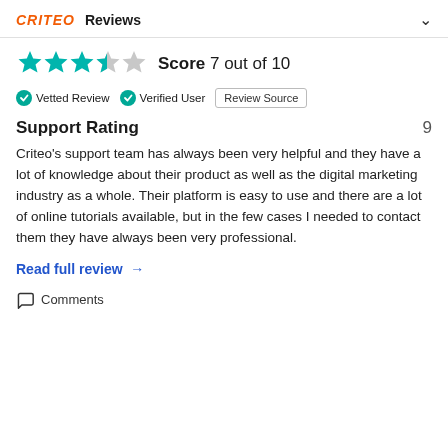CRITEO  Reviews
[Figure (other): Star rating showing 3.5 out of 5 stars in teal/gray color]
Score 7 out of 10
Vetted Review  Verified User  Review Source
Support Rating  9
Criteo's support team has always been very helpful and they have a lot of knowledge about their product as well as the digital marketing industry as a whole. Their platform is easy to use and there are a lot of online tutorials available, but in the few cases I needed to contact them they have always been very professional.
Read full review →
Comments